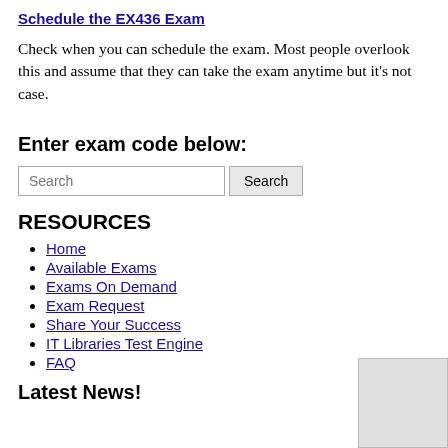Schedule the EX436 Exam
Check when you can schedule the exam. Most people overlook this and assume that they can take the exam anytime but it's not case.
Enter exam code below:
Search [input field] Search [button]
RESOURCES
Home
Available Exams
Exams On Demand
Exam Request
Share Your Success
IT Libraries Test Engine
FAQ
Latest News!